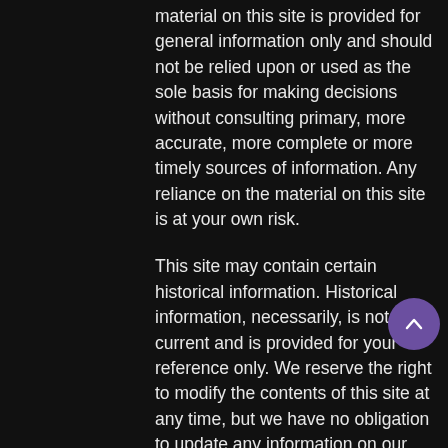material on this site is provided for general information only and should not be relied upon or used as the sole basis for making decisions without consulting primary, more accurate, more complete or more timely sources of information. Any reliance on the material on this site is at your own risk.
This site may contain certain historical information. Historical information, necessarily, is not current and is provided for your reference only. We reserve the right to modify the contents of this site at any time, but we have no obligation to update any information on our site. You agree that it is your responsibility to monitor changes to our site.